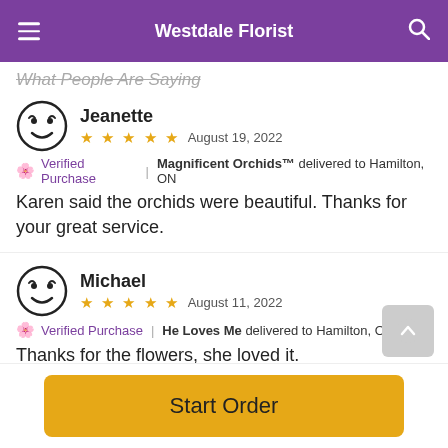Westdale Florist
What People Are Saying
Jeanette
★★★★★ August 19, 2022
🌸 Verified Purchase | Magnificent Orchids™ delivered to Hamilton, ON
Karen said the orchids were beautiful. Thanks for your great service.
Michael
★★★★★ August 11, 2022
🌸 Verified Purchase | He Loves Me delivered to Hamilton, ON
Thanks for the flowers, she loved it.
Start Order